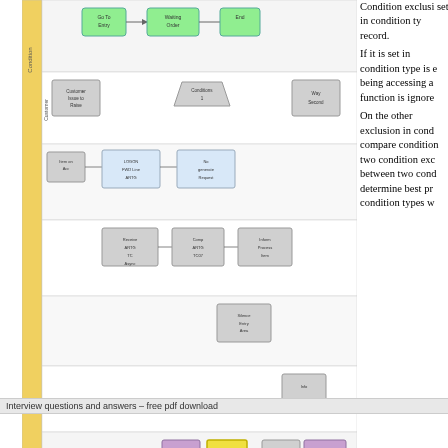[Figure (flowchart): A multi-row flowchart/process diagram showing condition exclusion logic with colored boxes (green, gray, purple, yellow) and arrows, arranged in a grid with row labels on the left side.]
Condition exclusion set in condition type record. If it is set in condition type is e being accessing a function is ignore On the other exclusion in cond compare condition two condition exc between two cond determine best pr condition types w
Interview questions and answers – free pdf download